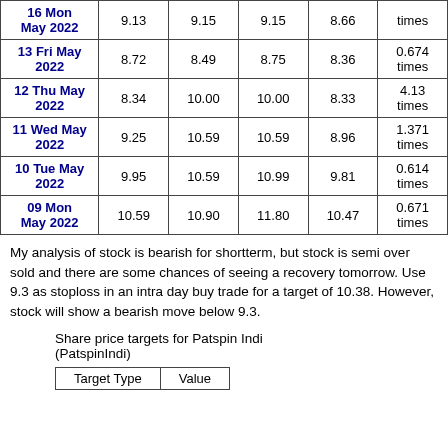| Date | Close | High | High | Low | Volume |
| --- | --- | --- | --- | --- | --- |
| 16 Mon May 2022 | 9.13 | 9.15 | 9.15 | 8.66 | times |
| 13 Fri May 2022 | 8.72 | 8.49 | 8.75 | 8.36 | 0.674 times |
| 12 Thu May 2022 | 8.34 | 10.00 | 10.00 | 8.33 | 4.13 times |
| 11 Wed May 2022 | 9.25 | 10.59 | 10.59 | 8.96 | 1.371 times |
| 10 Tue May 2022 | 9.95 | 10.59 | 10.99 | 9.81 | 0.614 times |
| 09 Mon May 2022 | 10.59 | 10.90 | 11.80 | 10.47 | 0.671 times |
My analysis of stock is bearish for shortterm, but stock is semi over sold and there are some chances of seeing a recovery tomorrow. Use 9.3 as stoploss in an intra day buy trade for a target of 10.38. However, stock will show a bearish move below 9.3.
Share price targets for Patspin Indi (PatspinIndi)
| Target Type | Value |
| --- | --- |